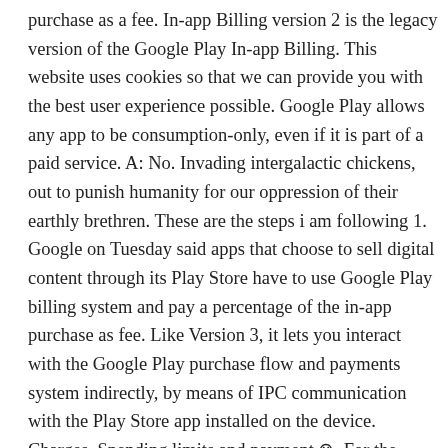purchase as a fee. In-app Billing version 2 is the legacy version of the Google Play In-app Billing. This website uses cookies so that we can provide you with the best user experience possible. Google Play allows any app to be consumption-only, even if it is part of a paid service. A: No. Invading intergalactic chickens, out to punish humanity for our oppression of their earthly brethren. These are the steps i am following 1. Google on Tuesday said apps that choose to sell digital content through its Play Store have to use Google Play billing system and pay a percentage of the in-app purchase as fee. Like Version 3, it lets you interact with the Google Play purchase flow and payments system indirectly, by means of IPC communication with the Play Store app installed on the device. Charges, Spending limits and payment ⊗  For the payment method, select “ENABLE SUN BILLING” to register and activate direct carrier billing. I’m thankful for moments like this. To integrate Google Play’s billing system, first add a dependency to the Google Play Billing Library in your app. Direct carrier billing